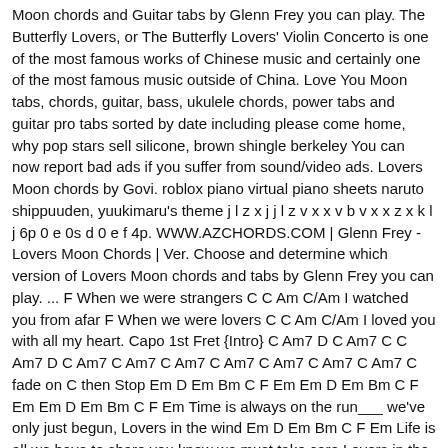Moon chords and Guitar tabs by Glenn Frey you can play. The Butterfly Lovers, or The Butterfly Lovers' Violin Concerto is one of the most famous works of Chinese music and certainly one of the most famous music outside of China. Love You Moon tabs, chords, guitar, bass, ukulele chords, power tabs and guitar pro tabs sorted by date including please come home, why pop stars sell silicone, brown shingle berkeley You can now report bad ads if you suffer from sound/video ads. Lovers Moon chords by Govi. roblox piano virtual piano sheets naruto shippuuden, yuukimaru's theme j l z x j j l z v x x v b v x x z x k l j 6p 0 e 0s d 0 e f 4p. WWW.AZCHORDS.COM | Glenn Frey - Lovers Moon Chords | Ver. Choose and determine which version of Lovers Moon chords and tabs by Glenn Frey you can play. ... F When we were strangers C C Am C/Am I watched you from afar F When we were lovers C C Am C/Am I loved you with all my heart. Capo 1st Fret {Intro} C Am7 D C Am7 C C Am7 D C Am7 C Am7 C Am7 C Am7 C Am7 C Am7 C Am7 C fade on C then Stop Em D Em Bm C F Em Em D Em Bm C F Em Em D Em Bm C F Em Time is always on the run___ we've only just begun, Lovers in the wind Em D Em Bm C F Em Life is all we have to share you know we must take care Lovers in the wind {Chorus} D G C Am F C There was a time when it was hard … Our team is made entirely out of music lovers. 300,000+ songs via the world's largest in-app store, superior practice tools, easy PDF import and more.